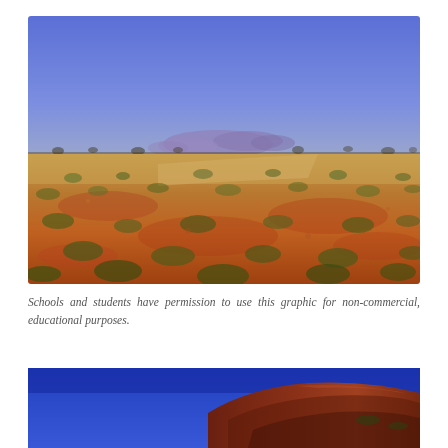[Figure (photo): Wide panoramic photograph of an Australian outback desert landscape with red/orange sandy soil, sparse dry scrub bushes, and distant purple mountains on the horizon under a vivid blue sky.]
Schools and students have permission to use this graphic for non-commercial, educational purposes.
[Figure (photo): Partial photograph showing the base of a large red rock formation (likely Uluru) against a deep blue sky, with the distinctive reddish-brown rock face visible.]